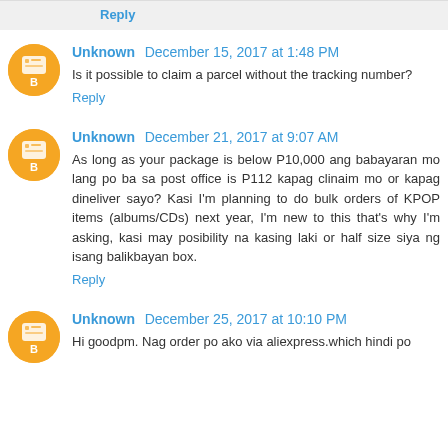Reply
Unknown December 15, 2017 at 1:48 PM
Is it possible to claim a parcel without the tracking number?
Reply
Unknown December 21, 2017 at 9:07 AM
As long as your package is below P10,000 ang babayaran mo lang po ba sa post office is P112 kapag clinaim mo or kapag dineliver sayo? Kasi I'm planning to do bulk orders of KPOP items (albums/CDs) next year, I'm new to this that's why I'm asking, kasi may posibility na kasing laki or half size siya ng isang balikbayan box.
Reply
Unknown December 25, 2017 at 10:10 PM
Hi goodpm. Nag order po ako via aliexpress.which hindi po